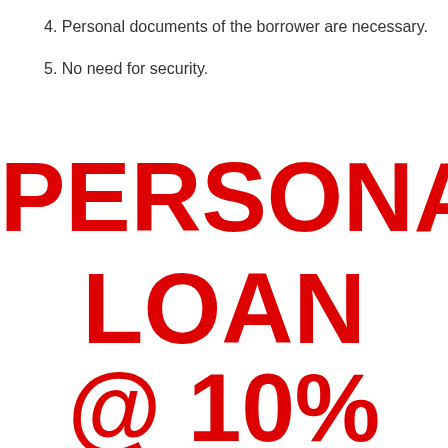4. Personal documents of the borrower are necessary.
5. No need for security.
PERSONAL LOAN @ 10%